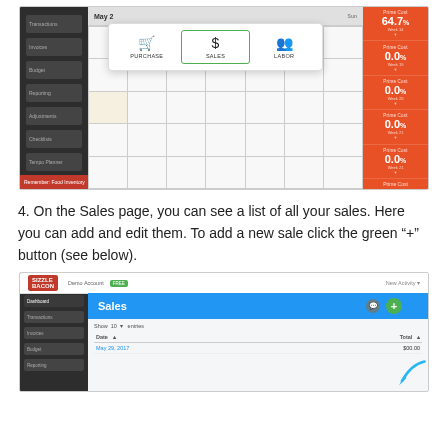[Figure (screenshot): Screenshot of a restaurant management software showing a calendar view with a popup menu displaying Purchase, Sales, and Labor options. A right sidebar shows Prime Cost percentages for multiple weeks (64.7%, 0.0%, 0.0%, 0.0%, 0.0%).]
4. On the Sales page, you can see a list of all your sales. Here you can add and edit them. To add a new sale click the green "+" button (see below).
[Figure (screenshot): Screenshot of the Sales page in the restaurant management software, showing a blue header with 'Sales' title, a green '+' button on the right, and a table with Date and Total columns.]